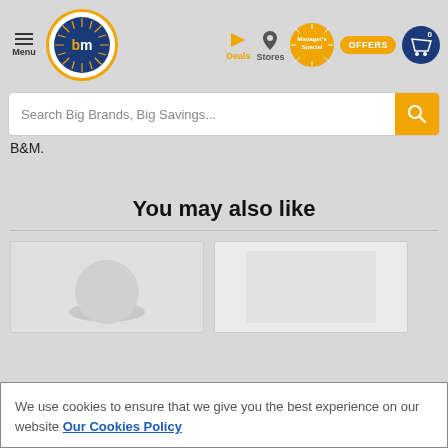B&M website header with Menu, Logo, Deals, Stores, Manager's Special, OFFERS, and cart (0)
B&M.
You may also like
[Figure (screenshot): Two product cards partially visible below the 'You may also like' heading]
We use cookies to ensure that we give you the best experience on our website Our Cookies Policy